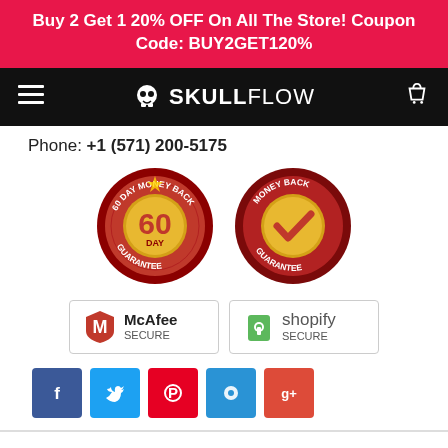Buy 2 Get 1 20% OFF On All The Store! Coupon Code: BUY2GET120%
[Figure (logo): SkullFlow navigation bar with hamburger menu, skull logo, and shopping cart icon]
Phone: +1 (571) 200-5175
[Figure (illustration): Two circular money-back guarantee badges: 60 Day Money Back Guarantee and Money Back Guarantee with checkmark]
[Figure (illustration): McAfee SECURE and Shopify SECURE trust badges]
[Figure (illustration): Social media share buttons: Facebook, Twitter, Pinterest, Fancy, Google+]
Frequently Bought Together
[Figure (illustration): Three product thumbnail images shown at bottom of page]